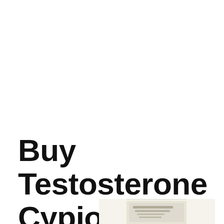Buy Testosterone Cypionate 200mg
[Figure (photo): Partial view of a product image (pharmaceutical packaging/vial) inside a bordered box, cropped at the bottom of the page]